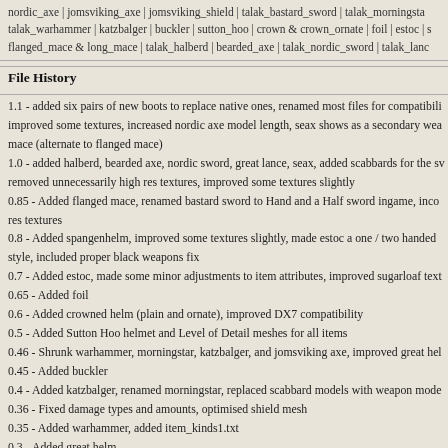nordic_axe | jomsviking_axe | jomsviking_shield | talak_bastard_sword | talak_morningstar | talak_warhammer | katzbalger | buckler | sutton_hoo | crown & crown_ornate | foil | estoc | s flanged_mace & long_mace | talak_halberd | bearded_axe | talak_nordic_sword | talak_lanc
File History
1.1 - added six pairs of new boots to replace native ones, renamed most files for compatibili improved some textures, increased nordic axe model length, seax shows as a secondary wea mace (alternate to flanged mace)
1.0 - added halberd, bearded axe, nordic sword, great lance, seax, added scabbards for the sv removed unnecessarily high res textures, improved some textures slightly
0.85 - Added flanged mace, renamed bastard sword to Hand and a Half sword ingame, inco res textures
0.8 - Added spangenhelm, improved some textures slightly, made estoc a one / two handed style, included proper black weapons fix
0.7 - Added estoc, made some minor adjustments to item attributes, improved sugarloaf text
0.65 - Added foil
0.6 - Added crowned helm (plain and ornate), improved DX7 compatibility
0.5 - Added Sutton Hoo helmet and Level of Detail meshes for all items
0.46 - Shrunk warhammer, morningstar, katzbalger, and jomsviking axe, improved great hel
0.45 - Added buckler
0.4 - Added katzbalger, renamed morningstar, replaced scabbard models with weapon mode
0.36 - Fixed damage types and amounts, optimised shield mesh
0.35 - Added warhammer, added item_kinds1.txt
0.3 - Added great helm
0.25 - Added two-handed morningstar, improved specularity
0.2 - Added bastard sword and jomsviking axe
0.15 - Added jomsviking shield
0.1 - Initial release (nordic axe)